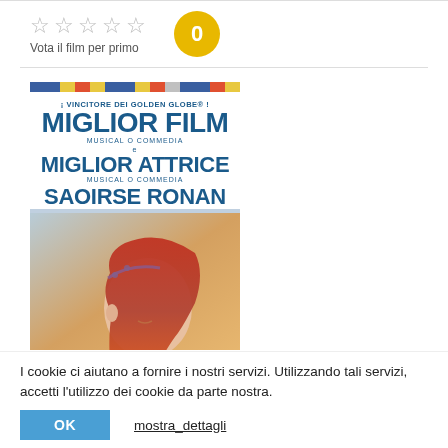[Figure (screenshot): Star rating widget: 5 empty stars with label 'Vota il film per primo' and a yellow circle with '0']
[Figure (photo): Movie poster for Lady Bird: text 'VINCITORE DEI GOLDEN GLOBE - MIGLIOR FILM MUSICAL O COMMEDIA - MIGLIOR ATTRICE MUSICAL O COMMEDIA - SAOIRSE RONAN' with a profile photo of a red-haired woman]
I cookie ci aiutano a fornire i nostri servizi. Utilizzando tali servizi, accetti l'utilizzo dei cookie da parte nostra.
OK
mostra_dettagli